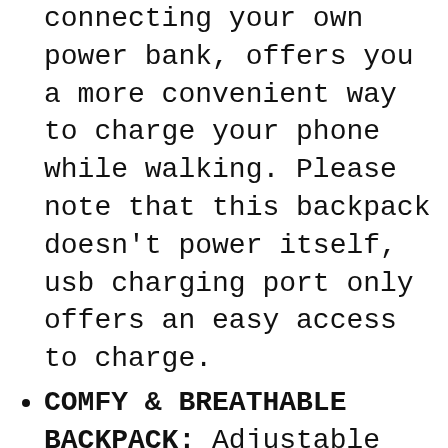connecting your own power bank, offers you a more convenient way to charge your phone while walking. Please note that this backpack doesn't power itself, usb charging port only offers an easy access to charge.
COMFY & BREATHABLE BACKPACK: Adjustable shoulder straps and back side comes with comfortable and breathable mesh design, relieves the stress of your shoulder. A comfortable airflow foam-pad back design with soft, multi-panel breathable mesh padding, offer your back maximum back support. A foam-padded top handle for a long time carry on.
ANTI-THEFT&FUNCTIONAL: The backpack back luggage strap allows travel laptop bag fits on suitcase, slide over the luggage upright handle tube for easier carrying. A